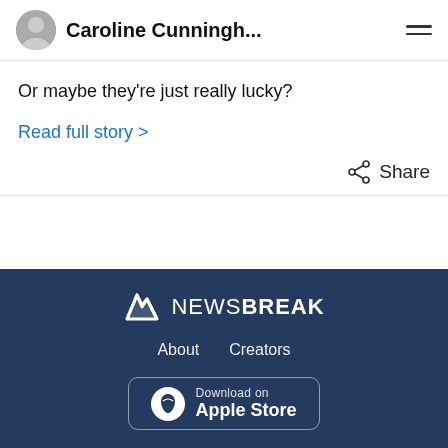Caroline Cunningh...
Or maybe they’re just really lucky?
Read full story >
Share
[Figure (logo): NewsBreak logo — lightning bolt N icon followed by NEWS BREAK text in white on dark blue background]
About   Creators
Download on Apple Store